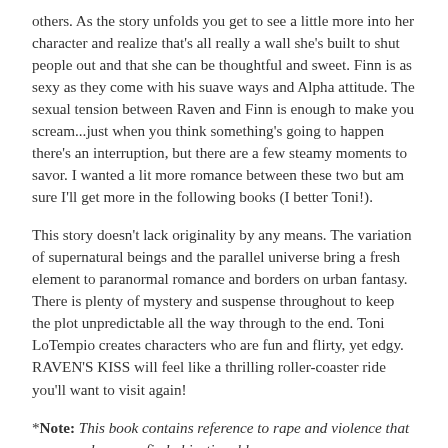others. As the story unfolds you get to see a little more into her character and realize that's all really a wall she's built to shut people out and that she can be thoughtful and sweet. Finn is as sexy as they come with his suave ways and Alpha attitude. The sexual tension between Raven and Finn is enough to make you scream...just when you think something's going to happen there's an interruption, but there are a few steamy moments to savor. I wanted a lit more romance between these two but am sure I'll get more in the following books (I better Toni!).
This story doesn't lack originality by any means. The variation of supernatural beings and the parallel universe bring a fresh element to paranormal romance and borders on urban fantasy. There is plenty of mystery and suspense throughout to keep the plot unpredictable all the way through to the end. Toni LoTempio creates characters who are fun and flirty, yet edgy. RAVEN'S KISS will feel like a thrilling roller-coaster ride you'll want to visit again!
*Note: This book contains reference to rape and violence that some readers may find objectionable.